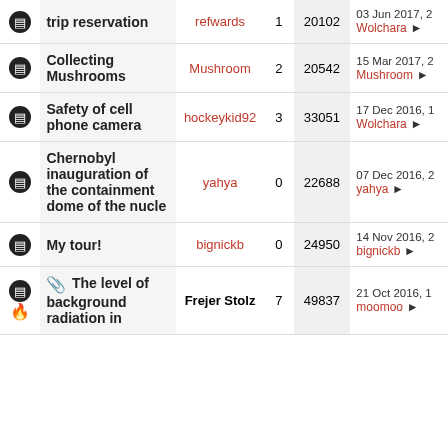|  | Topic | Author | Replies | Views | Last Post |
| --- | --- | --- | --- | --- | --- |
| [doc] | trip reservation | refwards | 1 | 20102 | 03 Jun 2017, 2
Wolchara → |
| [doc] | Collecting Mushrooms | Mushroom | 2 | 20542 | 15 Mar 2017, 2
Mushroom → |
| [doc] | Safety of cell phone camera | hockeykid92 | 3 | 33051 | 17 Dec 2016, 1
Wolchara → |
| [doc] | Chernobyl inauguration of the containment dome of the nucle | yahya | 0 | 22688 | 07 Dec 2016, 2
yahya → |
| [doc] | My tour! | bignickb | 0 | 24950 | 14 Nov 2016, 2
bignickb → |
| [doc][paperclip][fire] | The level of background radiation in | Frejer Stolz | 7 | 49837 | 21 Oct 2016, 1
momoo → |